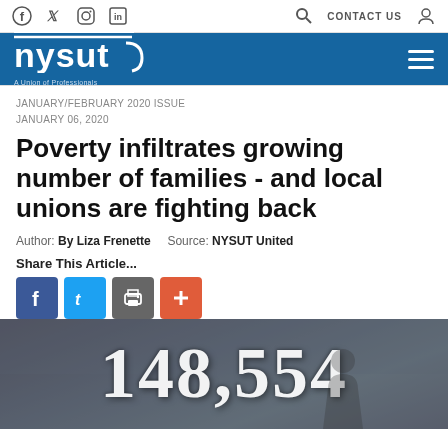NYSUT website header with social icons (Facebook, Twitter, Instagram, LinkedIn), search, Contact Us, and user icon. Blue band with NYSUT logo and hamburger menu.
JANUARY/FEBRUARY 2020 ISSUE
JANUARY 06, 2020
Poverty infiltrates growing number of families - and local unions are fighting back
Author: By Liza Frenette    Source: NYSUT United
Share This Article...
[Figure (infographic): Dark photographic background image with large white distressed numbers '148,554' overlaid in bold serif font]
148,554